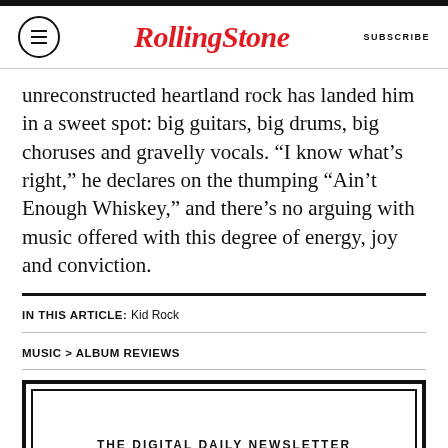Rolling Stone — SUBSCRIBE
unreconstructed heartland rock has landed him in a sweet spot: big guitars, big drums, big choruses and gravelly vocals. “I know what’s right,” he declares on the thumping “Ain’t Enough Whiskey,” and there’s no arguing with music offered with this degree of energy, joy and conviction.
IN THIS ARTICLE: Kid Rock
MUSIC > ALBUM REVIEWS
[Figure (other): Newsletter signup box with text THE DIGITAL DAILY NEWSLETTER]